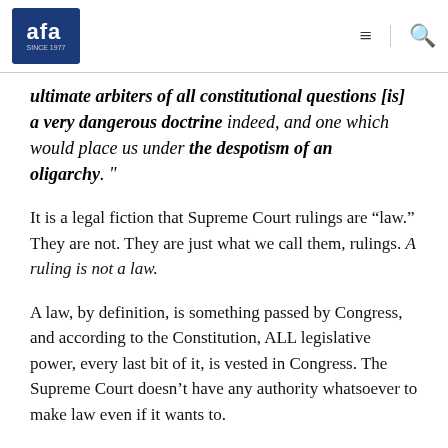AFA since 1977
ultimate arbiters of all constitutional questions [is] a very dangerous doctrine indeed, and one which would place us under the despotism of an oligarchy.”
It is a legal fiction that Supreme Court rulings are “law.” They are not. They are just what we call them, rulings. A ruling is not a law.
A law, by definition, is something passed by Congress, and according to the Constitution, ALL legislative power, every last bit of it, is vested in Congress. The Supreme Court doesn’t have any authority whatsoever to make law even if it wants to.
As President Andrew Jackson put it, “Each public officer, who took an oath to support the Constitution, must...